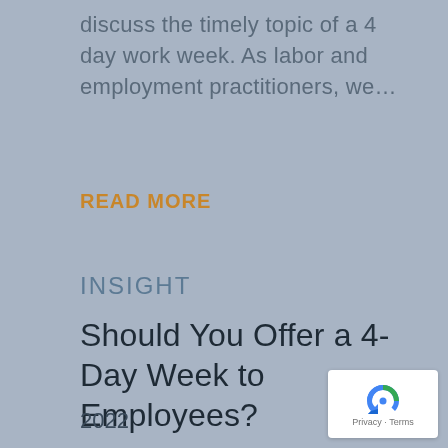discuss the timely topic of a 4 day work week. As labor and employment practitioners, we...
READ MORE
INSIGHT
Should You Offer a 4-Day Week to Employees?
2022
[Figure (logo): reCAPTCHA badge with recycling arrow icon and Privacy - Terms text]